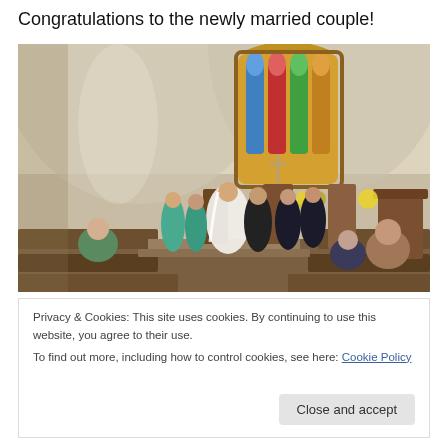Congratulations to the newly married couple!
[Figure (photo): Wedding ceremony inside a church with stained glass window. Bride in white dress and groom in black suit stand at the altar. Bridesmaids in teal dresses and groomsmen visible. Guests seated in pews viewing the ceremony.]
Privacy & Cookies: This site uses cookies. By continuing to use this website, you agree to their use.
To find out more, including how to control cookies, see here: Cookie Policy
Close and accept